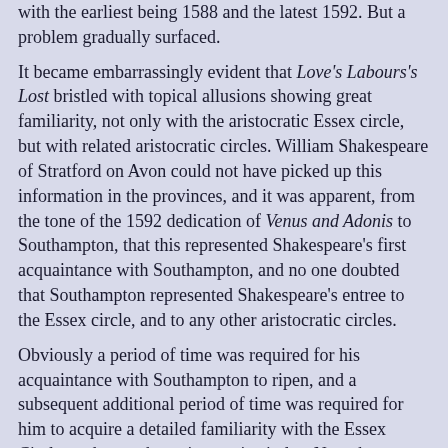with the earliest being 1588 and the latest 1592. But a problem gradually surfaced.
It became embarrassingly evident that Love's Labours's Lost bristled with topical allusions showing great familiarity, not only with the aristocratic Essex circle, but with related aristocratic circles. William Shakespeare of Stratford on Avon could not have picked up this information in the provinces, and it was apparent, from the tone of the 1592 dedication of Venus and Adonis to Southampton, that this represented Shakespeare's first acquaintance with Southampton, and no one doubted that Southampton represented Shakespeare's entree to the Essex circle, and to any other aristocratic circles.
Obviously a period of time was required for his acquaintance with Southampton to ripen, and a subsequent additional period of time was required for him to acquire a detailed familiarity with the Essex Circle, and any other aristocratic circles. Now the storm is over. The crisis has passed. If one looks at the "official" chronology of the Plays, in the prestigious Folger Guide to Shakespeare, one